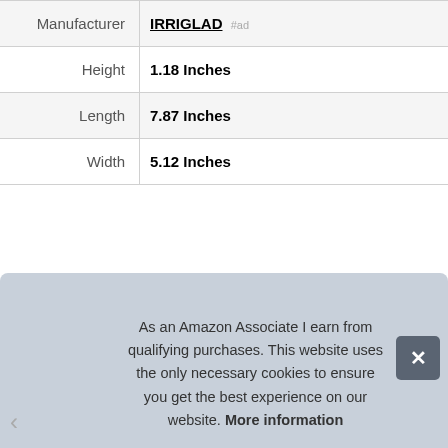| Manufacturer | IRRIGLAD |
| Height | 1.18 Inches |
| Length | 7.87 Inches |
| Width | 5.12 Inches |
More information #ad
Tags: Baosity  Clean Strike  DGZZI  Gilmour  Hunter Company  IRRIGLAD
As an Amazon Associate I earn from qualifying purchases. This website uses the only necessary cookies to ensure you get the best experience on our website. More information